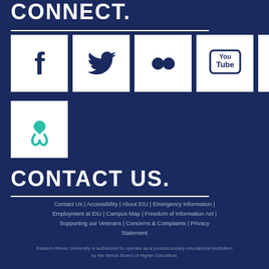CONNECT.
[Figure (illustration): Social media icons row 1: Facebook, Twitter, Flickr, YouTube, Vimeo — white square backgrounds on dark navy]
[Figure (illustration): Social media icon row 2: Teal awareness ribbon icon on white square background]
CONTACT US.
Contact Us | Accessibility | About EIU | Emergency Information | Employment at EIU | Campus Map | Freedom of Information Act | Supporting our Veterans | Concerns & Complaints | Privacy Statement
Eastern Illinois University is authorized to operate as a postsecondary educational institution by the Illinois Board of Higher Education.